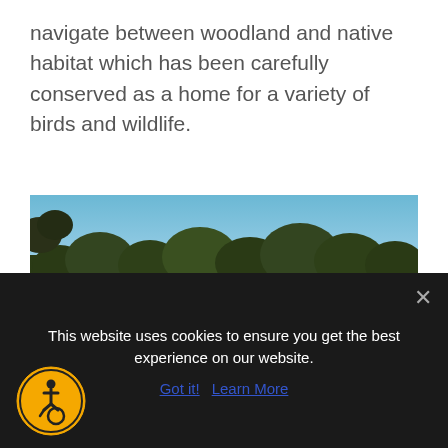navigate between woodland and native habitat which has been carefully conserved as a home for a variety of birds and wildlife.
[Figure (photo): Golf course photo showing a green fairway with a large sand bunker in the foreground, a pond reflecting the scenery, and trees lining the background under a clear blue sky. A flag is visible on the green.]
This website uses cookies to ensure you get the best experience on our website.
Got it!  Learn More